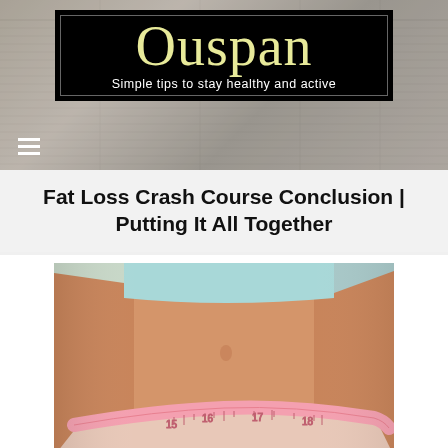Ouspan — Simple tips to stay healthy and active
Fat Loss Crash Course Conclusion | Putting It All Together
[Figure (photo): A fit woman in a light blue sports bra and light underwear showing her midsection with a pink measuring tape around her waist, numbers 15, 16, 17, 18 visible on the tape]